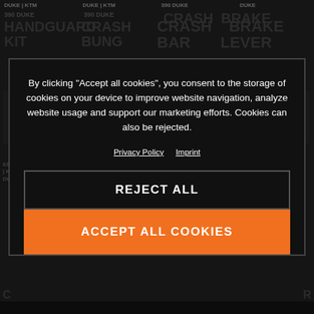[Figure (screenshot): KTM motorcycle accessories product grid background showing items including Handguard Kit, Crash Bung, Crash Bar, Brake Lever with product codes and KTM 390/890 Duke branding. Dark background.]
By clicking “Accept all cookies”, you consent to the storage of cookies on your device to improve website navigation, analyze website usage and support our marketing efforts. Cookies can also be rejected.
Privacy Policy  Imprint
REJECT ALL
ACCEPT ALL COOKIES